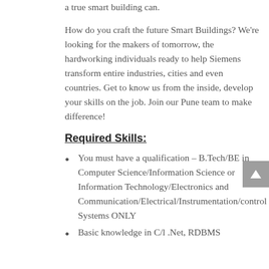a true smart building can.
How do you craft the future Smart Buildings? We're looking for the makers of tomorrow, the hardworking individuals ready to help Siemens transform entire industries, cities and even countries. Get to know us from the inside, develop your skills on the job. Join our Pune team to make difference!
Required Skills:
You must have a qualification – B.Tech/BE in Computer Science/Information Science or Information Technology/Electronics and Communication/Electrical/Instrumentation/control Systems ONLY
Basic knowledge in C/l .Net, RDBMS...